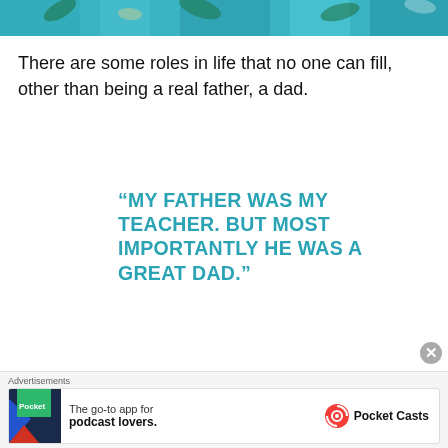[Figure (photo): Partial view of a photograph showing people/fabric in teal/turquoise tones with floral patterns at the top of the page]
There are some roles in life that no one can fill, other than being a real father, a dad.
“MY FATHER WAS MY TEACHER. BUT MOST IMPORTANTLY HE WAS A GREAT DAD.”
[Figure (illustration): Cursive signature in gold/yellow color reading 'Dean Brid' or similar]
Advertisements
[Figure (screenshot): Pocket Casts advertisement banner: The go-to app for podcast lovers.]